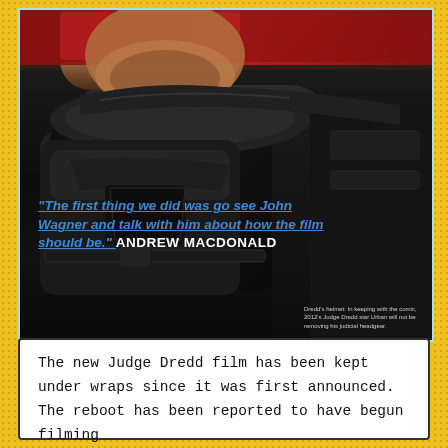[Figure (photo): Close-up photo of actor in Judge Dredd costume/helmet, showing chin and black armored suit. Quote overlaid on lower left of image.]
Dredd's helmet: In keeping with the comic, 2012's Judge Dredd star Urban will not be removing his judicial headgear.
The new Judge Dredd film has been kept under wraps since it was first announced. The reboot has been reported to have begun filming